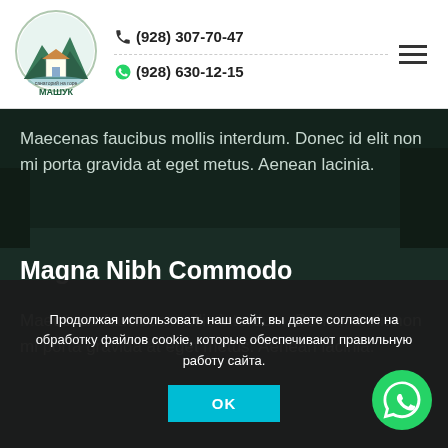(928) 307-70-47  (928) 630-12-15
[Figure (logo): Mashuk logo with mountain and building illustration, text МАШУК]
Maecenas faucibus mollis interdum. Donec id elit non mi porta gravida at eget metus. Aenean lacinia.
Magna Nibh Commodo
Maecenas faucibus mollis interdum. Donec id elit non mi porta gravida at eget metus. Aenean lacinia.
Продолжая использовать наш сайт, вы даете согласие на обработку файлов cookie, которые обеспечивают правильную работу сайта.
[Figure (other): WhatsApp floating button icon (green circle with phone handset)]